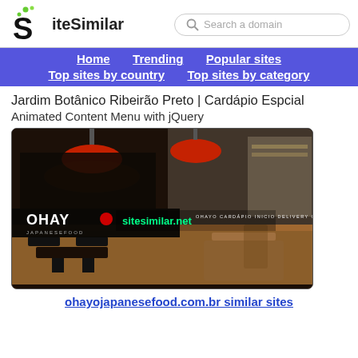SiteSimilar - Search a domain
[Figure (screenshot): SiteSimilar website header with logo (S with green dots) and search bar]
[Figure (other): Navigation bar with links: Home, Trending, Popular sites, Top sites by country, Top sites by category on blue/purple background]
Jardim Botânico Ribeirão Preto | Cardápio Espcial
Animated Content Menu with jQuery
[Figure (screenshot): Screenshot of ohayojapanesefood.com.br showing a Japanese restaurant with red pendant lights, wooden tables, and the OHAYO Japanese Food logo with sitesimilar.net watermark overlay]
ohayojapanesefood.com.br similar sites